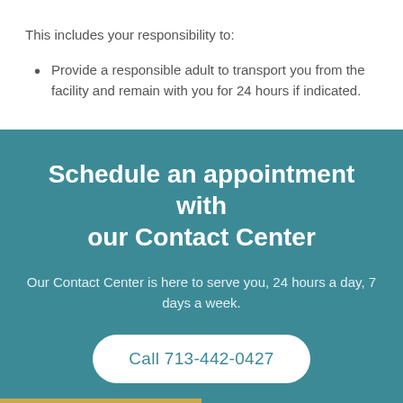This includes your responsibility to:
Provide a responsible adult to transport you from the facility and remain with you for 24 hours if indicated.
Schedule an appointment with our Contact Center
Our Contact Center is here to serve you, 24 hours a day, 7 days a week.
Call 713-442-0427